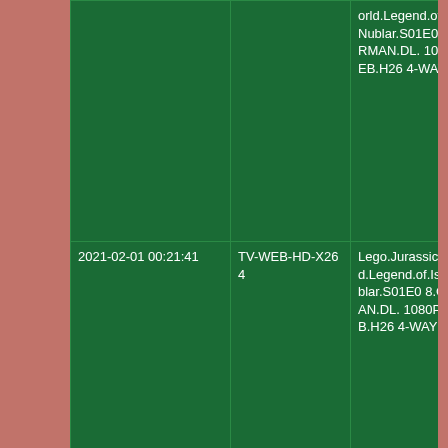| Date | Type | Name |
| --- | --- | --- |
|  |  | orld.Legend.of.Isla.Nublar.S01E07.GERMAN.DL.1080P.WEB.H264-WAYNE |
| 2021-02-01 00:21:41 | TV-WEB-HD-X264 | Lego.Jurassic.World.Legend.of.Isla.Nublar.S01E08.GERMAN.DL.1080P.WEB.H264-WAYNE |
| 2021-02-01 00:22:09 | MP3-WEB | Poligamia-15_Grandes_Exitos-ES-WEB-2001-RUIDO_INT |
| 2021-02-01 00:22:17 | TV-WEB-HD-X264 | Fargo.S03E10.iTALiAN.FiNAL.1080p.WEB.H264-NTROPiC |
| 2021-02-01 00:22:17 | TV-WEB-HD-X264 | Bobs.Burgers.S1... |